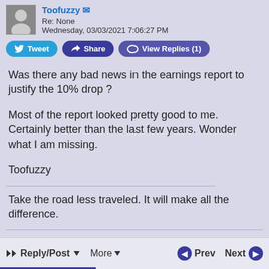Toofuzzy — Re: None — Wednesday, 03/03/2021 7:06:27 PM
Was there any bad news in the earnings report to justify the 10% drop ?
Most of the report looked pretty good to me. Certainly better than the last few years. Wonder what I am missing.
Toofuzzy
Take the road less traveled. It will make all the difference.
Reply/Post  More  Prev  Next